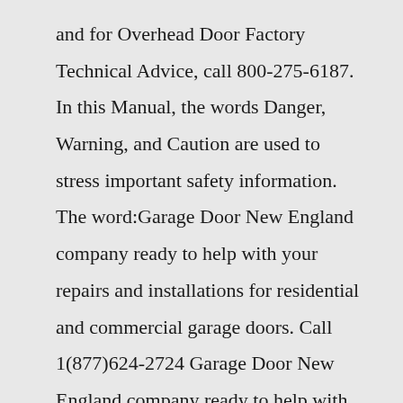and for Overhead Door Factory Technical Advice, call 800-275-6187. In this Manual, the words Danger, Warning, and Caution are used to stress important safety information. The word:Garage Door New England company ready to help with your repairs and installations for residential and commercial garage doors. Call 1(877)624-2724 Garage Door New England company ready to help with your repairs and